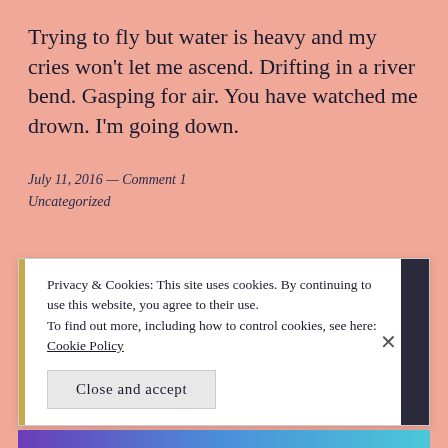Trying to fly but water is heavy and my cries won't let me ascend. Drifting in a river bend. Gasping for air. You have watched me drown. I'm going down.
July 11, 2016 — Comment 1
Uncategorized
Privacy & Cookies: This site uses cookies. By continuing to use this website, you agree to their use.
To find out more, including how to control cookies, see here:
Cookie Policy
Close and accept